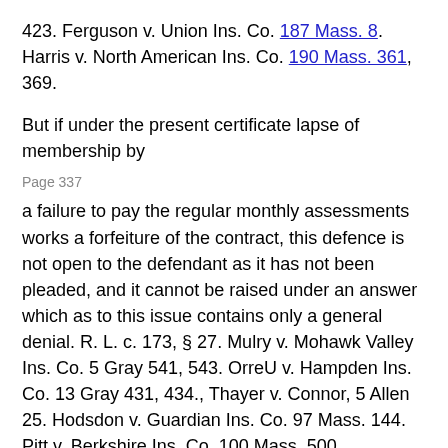423. Ferguson v. Union Ins. Co. 187 Mass. 8. Harris v. North American Ins. Co. 190 Mass. 361, 369.
But if under the present certificate lapse of membership by
Page 337
a failure to pay the regular monthly assessments works a forfeiture of the contract, this defence is not open to the defendant as it has not been pleaded, and it cannot be raised under an answer which as to this issue contains only a general denial. R. L. c. 173, § 27. Mulry v. Mohawk Valley Ins. Co. 5 Gray 541, 543. OrreU v. Hampden Ins. Co. 13 Gray 431, 434., Thayer v. Connor, 5 Allen 25. Hodsdon v. Guardian Ins. Co. 97 Mass. 144. Pitt v. Berkshire Ins. Co. 100 Mass. 500,